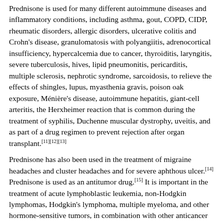Prednisone is used for many different autoimmune diseases and inflammatory conditions, including asthma, gout, COPD, CIDP, rheumatic disorders, allergic disorders, ulcerative colitis and Crohn's disease, granulomatosis with polyangiitis, adrenocortical insufficiency, hypercalcemia due to cancer, thyroiditis, laryngitis, severe tuberculosis, hives, lipid pneumonitis, pericarditis, multiple sclerosis, nephrotic syndrome, sarcoidosis, to relieve the effects of shingles, lupus, myasthenia gravis, poison oak exposure, Ménière's disease, autoimmune hepatitis, giant-cell arteritis, the Herxheimer reaction that is common during the treatment of syphilis, Duchenne muscular dystrophy, uveitis, and as part of a drug regimen to prevent rejection after organ transplant.[11][12][13]
Prednisone has also been used in the treatment of migraine headaches and cluster headaches and for severe aphthous ulcer.[14] Prednisone is used as an antitumor drug.[15] It is important in the treatment of acute lymphoblastic leukemia, non-Hodgkin lymphomas, Hodgkin's lymphoma, multiple myeloma, and other hormone-sensitive tumors, in combination with other anticancer drugs.
Prednisone is often also prescribed as a form of treatment for Sudden Sensorineural Hearing Loss (SSNHL).[16]
Prednisone can be used in the treatment of decompensated heart...